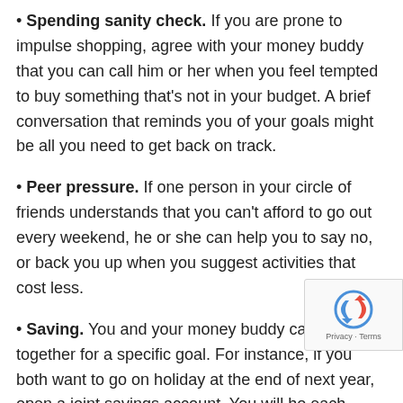Spending sanity check. If you are prone to impulse shopping, agree with your money buddy that you can call him or her when you feel tempted to buy something that's not in your budget. A brief conversation that reminds you of your goals might be all you need to get back on track.
Peer pressure. If one person in your circle of friends understands that you can't afford to go out every weekend, he or she can help you to say no, or back you up when you suggest activities that cost less.
Saving. You and your money buddy can save together for a specific goal. For instance, if you both want to go on holiday at the end of next year, open a joint savings account. You will hold each other accountable to keep saving, and you will both benefit from the interest you earn on...